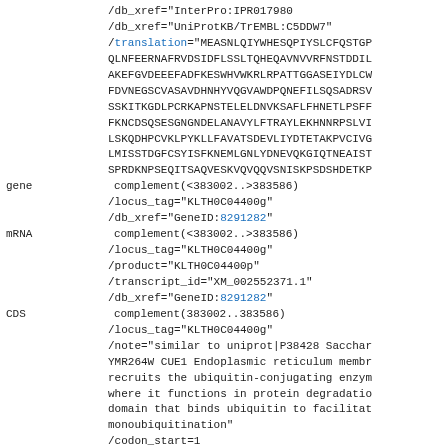/db_xref="InterPro:IPR017980"
/db_xref="UniProtKB/TrEMBL:C5DDW7"
/translation="MEASNLQIYWHESQPIYSLCFQSTGP
QLNFEERNAFRVDSIDFLSSLTQHEQAVNVVRFNSTDDIL
AKEFGVDEEEFADFKESWHVWKRLRPATTGGASEIYDLCW
FDVNEGSCVASAVDHNHYVQGVAWDPQNEFILSQSADRSV
SSKITKGDLPCRKAPNSTELELDNVKSAFLFHNETLPSFF
FKNCDSQSESGNGNDELANAVYLFTRAYLEKHNNRPSLVI
LSKQDHPCVKLPYKLLFAVATSDEVLIYDTETAKPVCIVG
LMISSTDGFCSYISFKNEMLGNLYDNEVQKGIQTNEAIST
SPRDKNPSEQITSAQVESKVQVQQVSNISKPSDSHDETKP
gene            complement(<383002..>383586)
                /locus_tag="KLTH0C04400g"
                /db_xref="GeneID:8291282"
mRNA            complement(<383002..>383586)
                /locus_tag="KLTH0C04400g"
                /product="KLTH0C04400p"
                /transcript_id="XM_002552371.1"
                /db_xref="GeneID:8291282"
CDS             complement(383002..383586)
                /locus_tag="KLTH0C04400g"
                /note="similar to uniprot|P38428 Sacchar
                YMR264W CUE1 Endoplasmic reticulum membr
                recruits the ubiquitin-conjugating enzym
                where it functions in protein degradatio
                domain that binds ubiquitin to facilitat
                monoubiquitination"
                /codon_start=1
                /product="KLTH0C04400p"
                /protein_id="XP_002552417.1"
                /db_xref="GeneID:8291282"
                /db_xref="InterPro:IPR003892"
                /db_xref="UniProtKB/TrEMBL:C5DDW8"